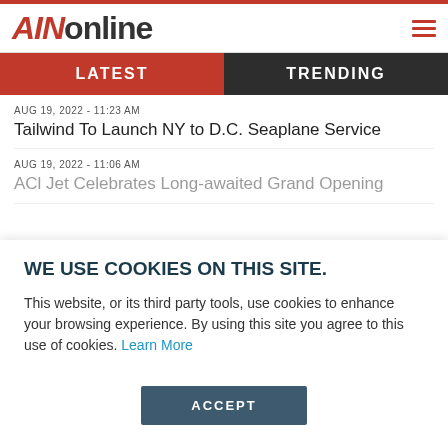AINonline
LATEST | TRENDING
AUG 19, 2022 - 11:23 AM
Tailwind To Launch NY to D.C. Seaplane Service
AUG 19, 2022 - 11:06 AM
ACl Jet Celebrates Long-awaited Grand Opening
WE USE COOKIES ON THIS SITE. This website, or its third party tools, use cookies to enhance your browsing experience. By using this site you agree to this use of cookies. Learn More
ACCEPT